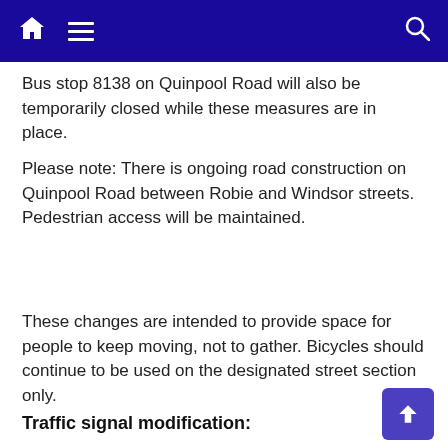[Navigation bar with home, menu, and search icons]
Bus stop 8138 on Quinpool Road will also be temporarily closed while these measures are in place.
Please note: There is ongoing road construction on Quinpool Road between Robie and Windsor streets. Pedestrian access will be maintained.
These changes are intended to provide space for people to keep moving, not to gather. Bicycles should continue to be used on the designated street section only.
Traffic signal modification: